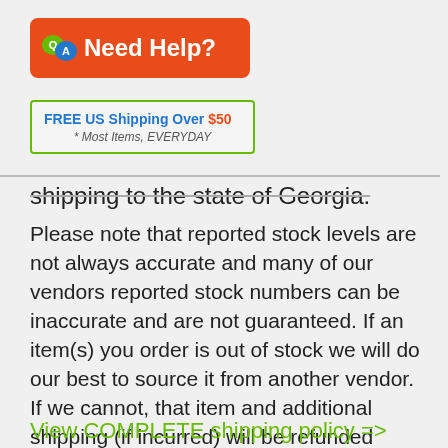[Figure (logo): Need Help? banner with orange background, QA speech bubble icon, and white bold text]
[Figure (infographic): FREE US Shipping Over $50 box with green border, blue bold text, and italic subtitle '* Most Items, EVERYDAY']
shipping to the state of Georgia.
Please note that reported stock levels are not always accurate and many of our vendors reported stock numbers can be inaccurate and are not guaranteed. If an item(s) you order is out of stock we will do our best to source it from another vendor. If we cannot, that item and additional shipping (if incurred) will be refunded when we ship the rest of your order.
View COMPLETE shipping policy =>